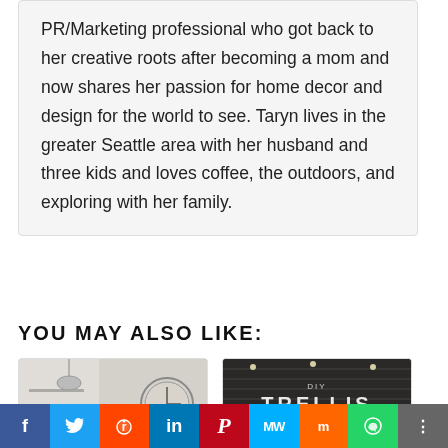PR/Marketing professional who got back to her creative roots after becoming a mom and now shares her passion for home decor and design for the world to see. Taryn lives in the greater Seattle area with her husband and three kids and loves coffee, the outdoors, and exploring with her family.
YOU MAY ALSO LIKE:
[Figure (photo): Interior room photo showing a hallway with a round clock and pendant light]
[Figure (photo): Dark wood trellis image with text overlay reading 'DIY TRELLIS FOR A FEW']